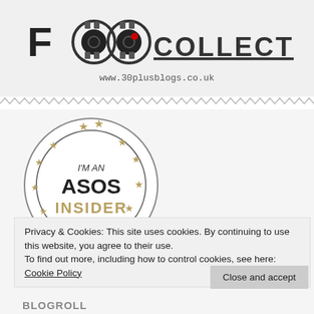[Figure (logo): FOO Collective logo with film reel icons and text, www.30plusblogs.co.uk URL beneath]
[Figure (illustration): ASOS Insider badge - circular badge with gold stars, text reads I'M AN ASOS INSIDER #ACCESSALL asos]
Privacy & Cookies: This site uses cookies. By continuing to use this website, you agree to their use.
To find out more, including how to control cookies, see here: Cookie Policy
Close and accept
BLOGROLL